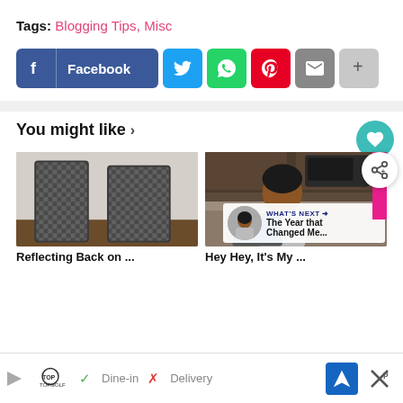Tags: Blogging Tips, Misc
[Figure (infographic): Social share buttons: Facebook, Twitter, WhatsApp, Pinterest, Email, More]
You might like >
[Figure (photo): Two women in matching patterned pajama sets standing in a room]
[Figure (photo): Woman sitting at kitchen counter with laptop]
Reflecting Back on...
Hey Hey, It's My...
[Figure (infographic): Advertisement bar: TopGolf logo, Dine-in checkmark, Delivery X, navigation icon, close button]